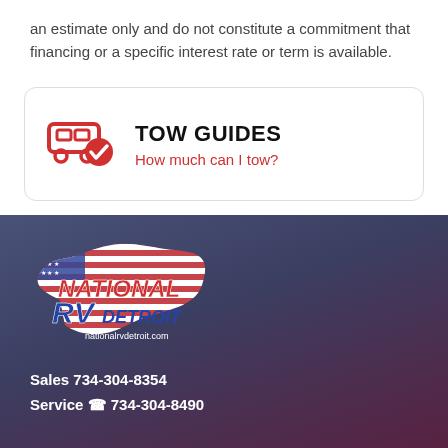an estimate only and do not constitute a commitment that financing or a specific interest rate or term is available.
TOW GUIDES
How much can I tow?
[Figure (logo): National RV Detroit logo with USA map shape in red, white and blue with stars and stripes, text nationalrvdetroit.com]
Sales 734-304-8354
Service 📞 734-304-8490